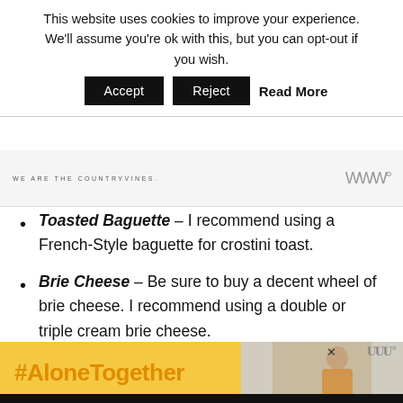This website uses cookies to improve your experience. We'll assume you're ok with this, but you can opt-out if you wish. Accept Reject Read More
WE ARE THE COUNTRYVINES.
Toasted Baguette – I recommend using a French-Style baguette for crostini toast.
Brie Cheese – Be sure to buy a decent wheel of brie cheese. I recommend using a double or triple cream brie cheese.
Apricot Jam – Use your favorite brand of
[Figure (screenshot): #AloneTogether advertisement banner with woman image and close button]